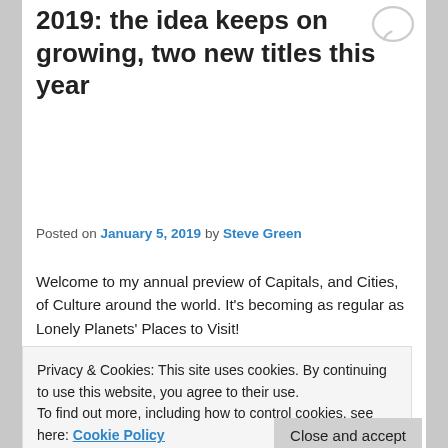2019: the idea keeps on growing, two new titles this year
Posted on January 5, 2019 by Steve Green
Welcome to my annual preview of Capitals, and Cities, of Culture around the world. It's becoming as regular as Lonely Planets' Places to Visit!
The concept of a designated City or Capital of Culture has come a long way from its initial offering in Athens in 1985. I exclude those cities which use the phrase as a
Privacy & Cookies: This site uses cookies. By continuing to use this website, you agree to their use.
To find out more, including how to control cookies, see here: Cookie Policy
form of diplomatic showcasing; in others nothing appears